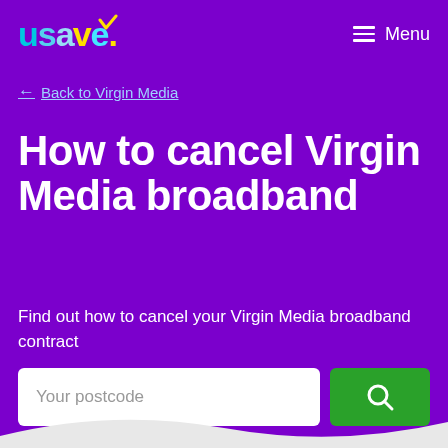usave. Menu
← Back to Virgin Media
How to cancel Virgin Media broadband
Find out how to cancel your Virgin Media broadband contract
Your postcode